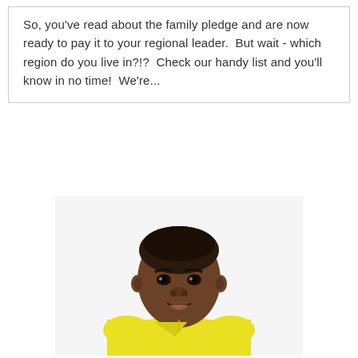So, you've read about the family pledge and are now ready to pay it to your regional leader.  But wait - which region do you live in?!?  Check our handy list and you'll know in no time!  We're...
[Figure (photo): A young Black man wearing a yellow polo shirt, photographed from the chest up against a white background, looking slightly to his right with mouth slightly open.]